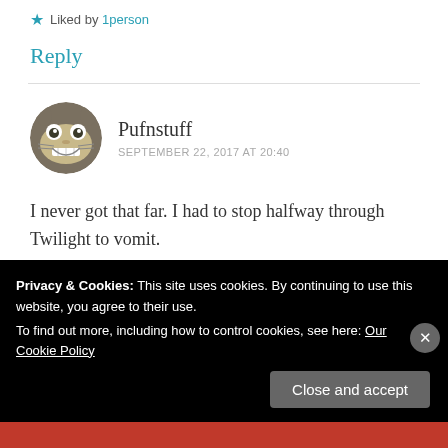★ Liked by 1person
Reply
Pufnstuff
SEPTEMBER 22, 2017 AT 20:40
I never got that far. I had to stop halfway through Twilight to vomit.
★ Like
Privacy & Cookies: This site uses cookies. By continuing to use this website, you agree to their use.
To find out more, including how to control cookies, see here: Our Cookie Policy
Close and accept